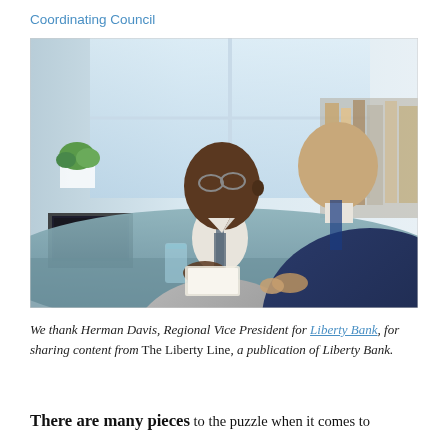Coordinating Council
[Figure (photo): Two businessmen in suits sitting at a desk in an office setting, one facing the camera wearing glasses and a gray suit, the other with back to camera in a dark blue suit, appearing to discuss documents. A laptop and water glass are on the desk; bookshelves and a plant are visible in the background.]
We thank Herman Davis, Regional Vice President for Liberty Bank, for sharing content from The Liberty Line, a publication of Liberty Bank.
There are many pieces to the puzzle when it comes to